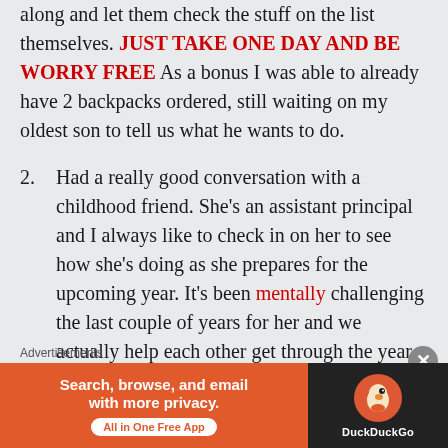along and let them check the stuff on the list themselves. JUST TAKE ONE DAY AND BE WORRY FREE As a bonus I was able to already have 2 backpacks ordered, still waiting on my oldest son to tell us what he wants to do.
2. Had a really good conversation with a childhood friend. She's an assistant principal and I always like to check in on her to see how she's doing as she prepares for the upcoming year. It's been mentally challenging the last couple of years for her and we actually help each other get through the year. Also it was great catching up and picking up where we left off since the last time
Advertisements
[Figure (other): DuckDuckGo advertisement banner: orange left section with text 'Search, browse, and email with more privacy. All in One Free App' and dark right section with DuckDuckGo duck logo and brand name.]